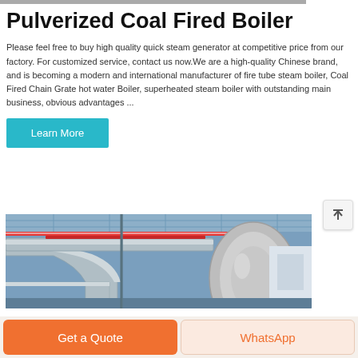Pulverized Coal Fired Boiler
Please feel free to buy high quality quick steam generator at competitive price from our factory. For customized service, contact us now.We are a high-quality Chinese brand, and is becoming a modern and international manufacturer of fire tube steam boiler, Coal Fired Chain Grate hot water Boiler, superheated steam boiler with outstanding main business, obvious advantages ...
[Figure (other): Button labeled Learn More with cyan/teal background]
[Figure (photo): Industrial boiler room with large silver insulated pipes and red accent pipes visible overhead inside a factory building]
[Figure (other): Back to top navigation button with upward arrow icon]
[Figure (other): Get a Quote orange button and WhatsApp button in bottom bar]